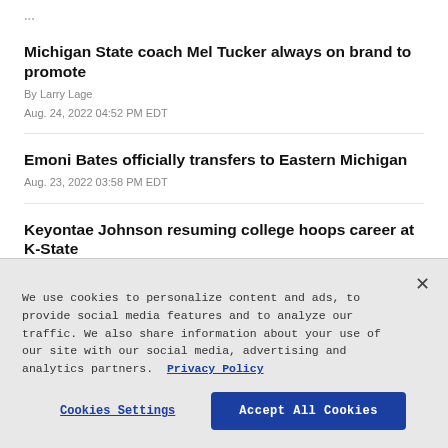Michigan State coach Mel Tucker always on brand to promote
By Larry Lage
Aug. 24, 2022 04:52 PM EDT
Emoni Bates officially transfers to Eastern Michigan
Aug. 23, 2022 03:58 PM EDT
Keyontae Johnson resuming college hoops career at K-State
We use cookies to personalize content and ads, to provide social media features and to analyze our traffic. We also share information about your use of our site with our social media, advertising and analytics partners. Privacy Policy
Cookies Settings | Accept All Cookies